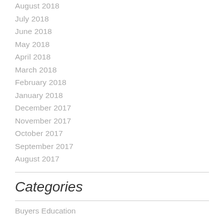August 2018
July 2018
June 2018
May 2018
April 2018
March 2018
February 2018
January 2018
December 2017
November 2017
October 2017
September 2017
August 2017
Categories
Buyers Education